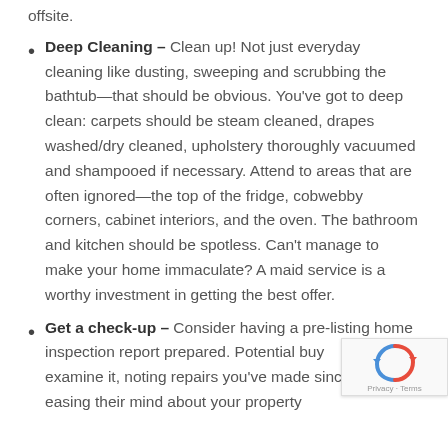offsite.
Deep Cleaning – Clean up! Not just everyday cleaning like dusting, sweeping and scrubbing the bathtub—that should be obvious. You've got to deep clean: carpets should be steam cleaned, drapes washed/dry cleaned, upholstery thoroughly vacuumed and shampooed if necessary. Attend to areas that are often ignored—the top of the fridge, cobwebby corners, cabinet interiors, and the oven. The bathroom and kitchen should be spotless. Can't manage to make your home immaculate? A maid service is a worthy investment in getting the best offer.
Get a check-up – Consider having a pre-listing home inspection report prepared. Potential buyers can examine it, noting repairs you've made since and easing their mind about your property